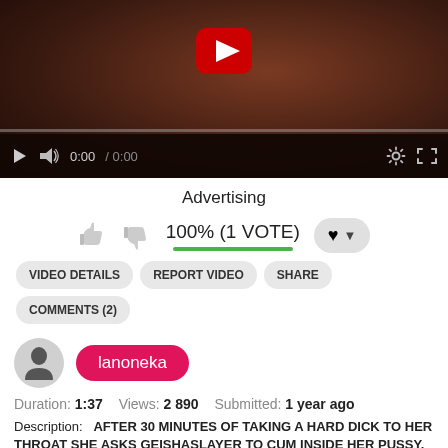[Figure (screenshot): Video player showing a paused video with dark brownish background, a red/white YouTube-style play button overlay, a progress bar at the bottom, and playback controls bar with play icon, volume icon, time display 0:00 / 0:00, settings gear icon, and fullscreen icon.]
Advertising
100% (1 VOTE)
VIDEO DETAILS   REPORT VIDEO   SHARE   COMMENTS (2)
lanoneka
Duration:  1:37   Views:  2 890   Submitted:  1 year ago
Description:    AFTER 30 MINUTES OF TAKING A HARD DICK TO HER THROAT SHE ASKS GEISHASLAYER TO CUM INSIDE HER PUSSY.
Categories:   Amateur